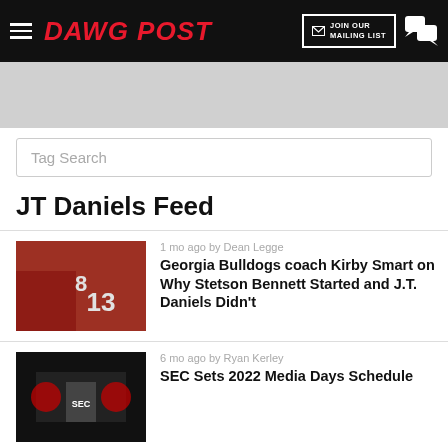DAWG POST
[Figure (screenshot): Ad banner placeholder gray area]
Tag Search
JT Daniels Feed
[Figure (photo): Georgia Bulldogs football players, numbers 8 and 13 in red uniforms]
1 mo ago by Dean Legge
Georgia Bulldogs coach Kirby Smart on Why Stetson Bennett Started and J.T. Daniels Didn't
[Figure (photo): Man speaking at SEC press conference podium]
6 mo ago by Ryan Kerley
SEC Sets 2022 Media Days Schedule
[Figure (photo): Georgia quarterback JT Daniels in red uniform]
7 mo ago by Matt DeBary
REPORT: Georgia QB JT Daniels Expected to Hit Transfer Portal